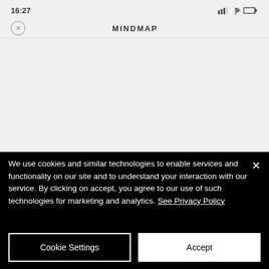[Figure (screenshot): Mobile app screenshot showing a MINDMAP screen with status bar showing 16:27 time and battery/signal icons, and a navigation bar with a close (X) button and MINDMAP title. The main content area is empty/light grey.]
We use cookies and similar technologies to enable services and functionality on our site and to understand your interaction with our service. By clicking on accept, you agree to our use of such technologies for marketing and analytics. See Privacy Policy
Cookie Settings
Accept